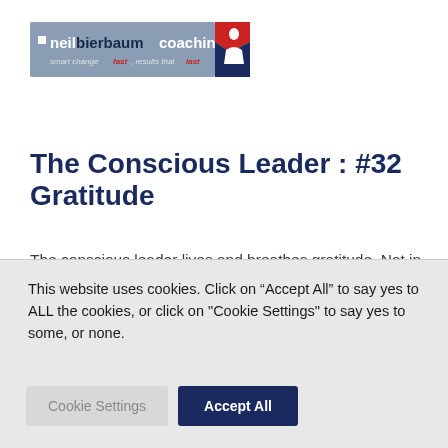[Figure (logo): neilbierbaumcoaching logo with tagline 'smart change fast, results that last' and a red/blue/white figure icon on the right]
The Conscious Leader : #32 Gratitude
The conscious leader lives and breathes gratitude. Not in order to get something, but to be congruent with the way life is.
This website uses cookies. Click on “Accept All” to say yes to ALL the cookies, or click on "Cookie Settings" to say yes to some, or none.